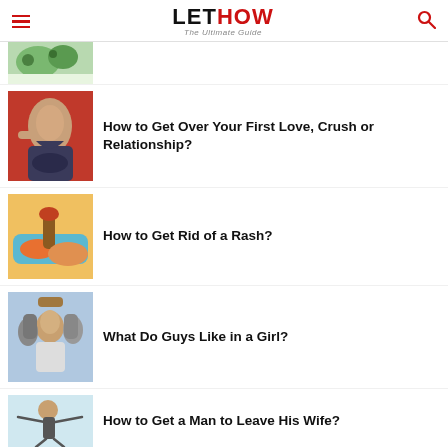LETHOW The Ultimate Guide
[Figure (photo): Partial thumbnail of a food/salad image, cropped at top]
[Figure (photo): Woman sitting with head down, appearing sad, over a red background]
How to Get Over Your First Love, Crush or Relationship?
[Figure (photo): Hands with a bottle applying liquid, rash remedy]
How to Get Rid of a Rash?
[Figure (photo): Group of young people smiling, woman in center with knit hat]
What Do Guys Like in a Girl?
[Figure (photo): Person in a joyful pose outdoors, arms outstretched]
How to Get a Man to Leave His Wife?